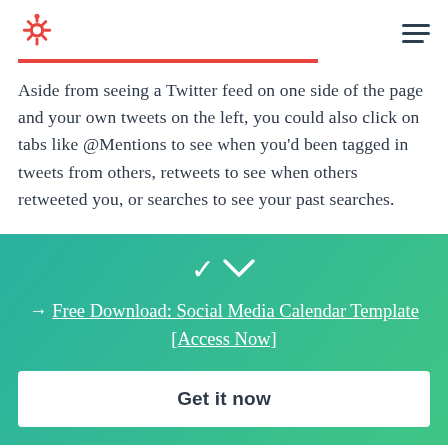[Figure (logo): HubSpot logo (orange sprocket/magnet icon) in top left, hamburger menu icon in top right]
Aside from seeing a Twitter feed on one side of the page and your own tweets on the left, you could also click on tabs like @Mentions to see when you'd been tagged in tweets from others, retweets to see when others retweeted you, or searches to see your past searches.
→ Free Download: Social Media Calendar Template [Access Now]
Get it now